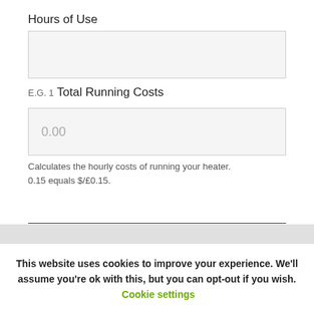Hours of Use
E.G. 1
Total Running Costs
0.00
Calculates the hourly costs of running your heater. 0.15 equals $/£0.15.
This website uses cookies to improve your experience. We'll assume you're ok with this, but you can opt-out if you wish. Cookie settings
ACCEPT